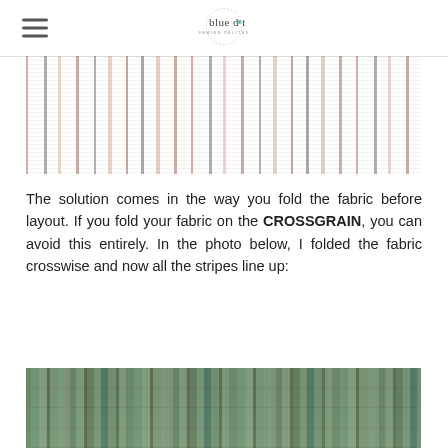blue dot sewing delites
[Figure (photo): Close-up photo of striped woven fabric laid flat, showing multicolored vertical stripes in red, gray, tan, and white tones with visible woven texture]
The solution comes in the way you fold the fabric before layout. If you fold your fabric on the CROSSGRAIN, you can avoid this entirely. In the photo below, I folded the fabric crosswise and now all the stripes line up:
[Figure (photo): Photo of striped fabric folded crosswise on a green cutting mat, showing the fabric edges with frayed selvage and aligned stripes in blue, red, gray, and tan tones]